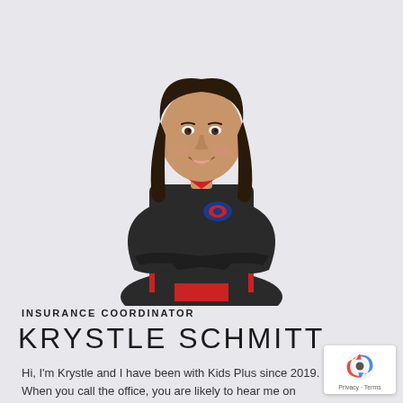[Figure (photo): Professional photo of Krystle Schmitt, a woman with long dark hair, smiling, arms crossed, wearing a dark zip-up jacket with a logo patch and red shirt underneath, posed against a light gray background.]
INSURANCE COORDINATOR
KRYSTLE SCHMITT
Hi, I'm Krystle and I have been with Kids Plus since 2019. When you call the office, you are likely to hear me on